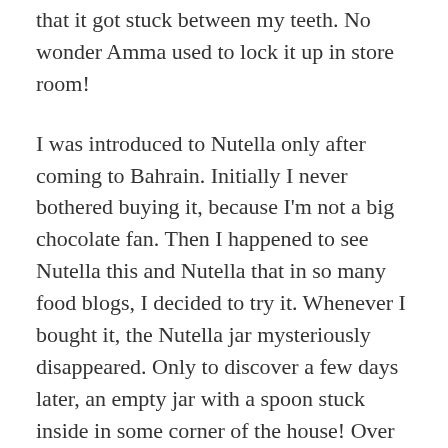that it got stuck between my teeth. No wonder Amma used to lock it up in store room!
I was introduced to Nutella only after coming to Bahrain. Initially I never bothered buying it, because I'm not a big chocolate fan. Then I happened to see Nutella this and Nutella that in so many food blogs, I decided to try it. Whenever I bought it, the Nutella jar mysteriously disappeared. Only to discover a few days later, an empty jar with a spoon stuck inside in some corner of the house! Over the years, I bought n number of Nutella, but it didnt last more than 2-3 days. If it's Milkmaid for me and milk powder for a friend, it's Nutella for Jose, that brings back the child in him. Anyways, recently when I bought it, I made sure to bake these cupcakes on the very same day, so finally I could do something with it.